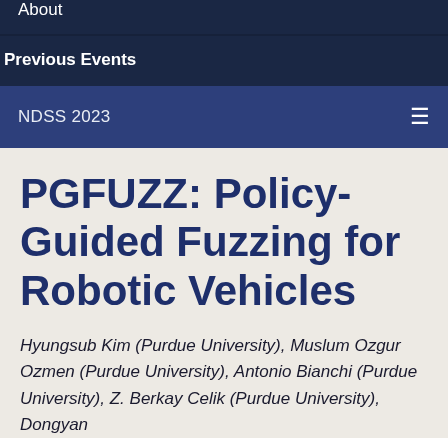About
Previous Events
NDSS 2023
PGFUZZ: Policy-Guided Fuzzing for Robotic Vehicles
Hyungsub Kim (Purdue University), Muslum Ozgur Ozmen (Purdue University), Antonio Bianchi (Purdue University), Z. Berkay Celik (Purdue University), Dongyan